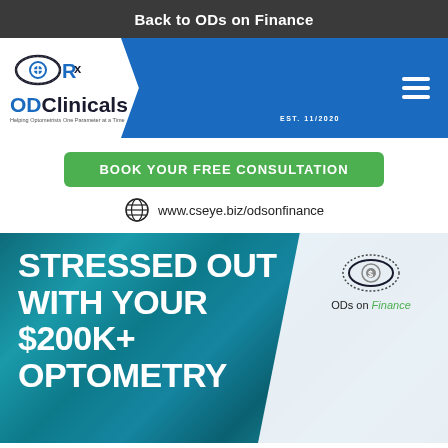Back to ODs on Finance
[Figure (logo): ODClinicals logo with eye and Rx icon, blue chevron background, hamburger menu icon on right side]
BOOK YOUR FREE CONSULTATION
www.cseye.biz/odsonfinance
[Figure (infographic): Teal/blue marble textured background with white diagonal chevron on right. Large white bold text reads STRESSED OUT WITH YOUR $200K+ OPTOMETRY. ODs on Finance logo with eye icon in upper right white section.]